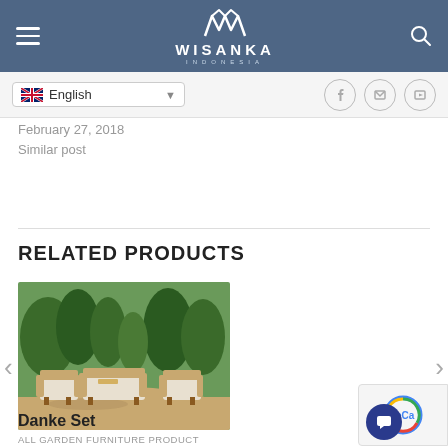WISANKA INDONESIA
February 27, 2018
Similar post
RELATED PRODUCTS
[Figure (photo): Outdoor garden furniture set (Danke Set) with wooden frame sofa chairs and coffee table on sandy ground with tropical plants in background]
ALL GARDEN FURNITURE PRODUCT
Danke Set